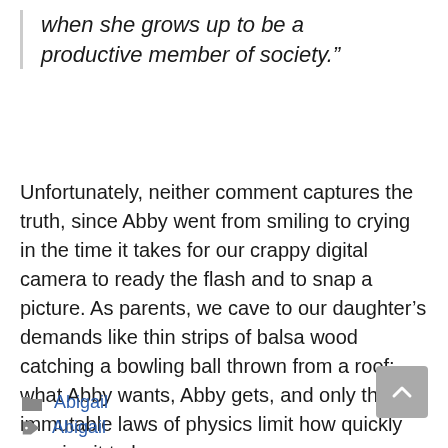when she grows up to be a productive member of society.”
Unfortunately, neither comment captures the truth, since Abby went from smiling to crying in the time it takes for our crappy digital camera to ready the flash and to snap a picture. As parents, we cave to our daughter’s demands like thin strips of balsa wood catching a bowling ball thrown from a roof; what Abby wants, Abby gets, and only the immutable laws of physics limit how quickly we give it to her.
Abigail
Abigail